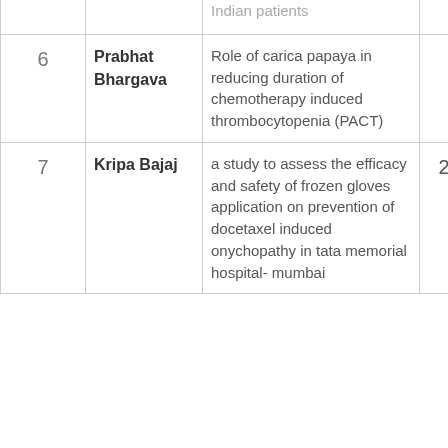| # | Author | Title/Description | Score |  |
| --- | --- | --- | --- | --- |
|  |  | Indian patients |  | - |
| 6 | Prabhat Bhargava | Role of carica papaya in reducing duration of chemotherapy induced thrombocytopenia (PACT) | 21 | - |
| 7 | Kripa Bajaj | a study to assess the efficacy and safety of frozen gloves application on prevention of docetaxel induced onychopathy in tata memorial hospital- mumbai | 20.5 | - |